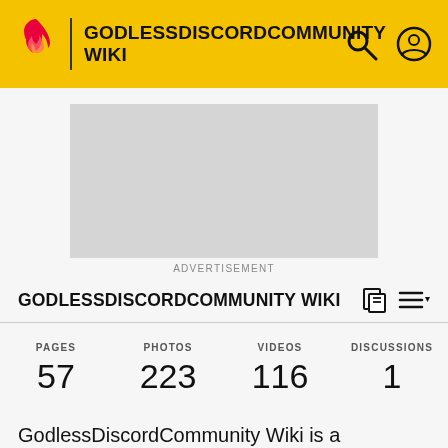GODLESSDISCORDCOMMUNITY WIKI
[Figure (screenshot): Advertisement placeholder (grey box)]
ADVERTISEMENT
GODLESSDISCORDCOMMUNITY WIKI
| PAGES | PHOTOS | VIDEOS | DISCUSSIONS |
| --- | --- | --- | --- |
| 57 | 223 | 116 | 1 |
GodlessDiscordCommunity Wiki is a community site that anyone can contribute to. Discover, share and add your knowledge!